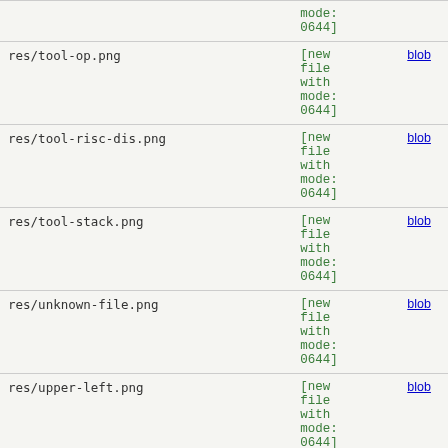| filename | status | link |
| --- | --- | --- |
|  | mode:
0644] |  |
| res/tool-op.png | [new
file
with
mode:
0644] | blob |
| res/tool-risc-dis.png | [new
file
with
mode:
0644] | blob |
| res/tool-stack.png | [new
file
with
mode:
0644] | blob |
| res/unknown-file.png | [new
file
with
mode:
0644] | blob |
| res/upper-left.png | [new
file
with
mode:
0644] | blob |
| res/upper-right.png | [new
file
with
mode:... | blob |